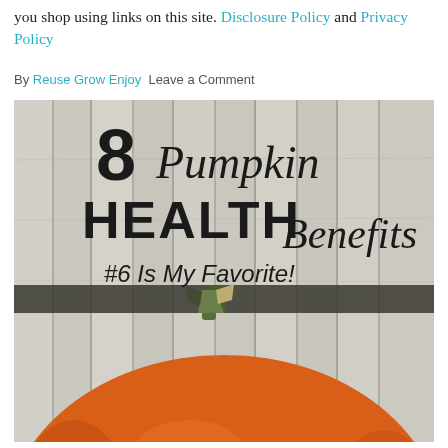you shop using links on this site. Disclosure Policy and Privacy Policy
By Reuse Grow Enjoy Leave a Comment
[Figure (photo): Photo of a pumpkin with text overlay reading '8 Pumpkin HEALTH Benefits #6 Is My Favorite!' against a weathered wood background]